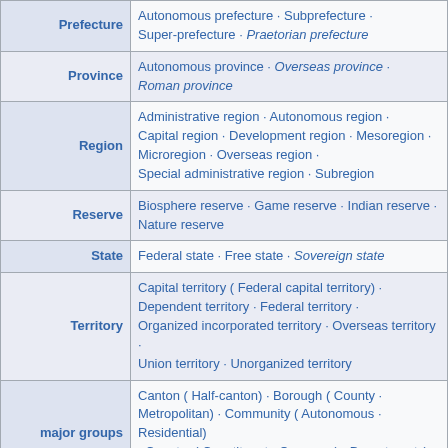| Category | Types |
| --- | --- |
| Prefecture | Autonomous prefecture · Subprefecture · Super-prefecture · Praetorian prefecture |
| Province | Autonomous province · Overseas province · Roman province |
| Region | Administrative region · Autonomous region · Capital region · Development region · Mesoregion · Microregion · Overseas region · Special administrative region · Subregion |
| Reserve | Biosphere reserve · Game reserve · Indian reserve · Nature reserve |
| State | Federal state · Free state · Sovereign state |
| Territory | Capital territory ( Federal capital territory) · Dependent territory · Federal territory · Organized incorporated territory · Overseas territory · Union territory · Unorganized territory |
| major groups | Canton ( Half-canton) · Borough ( County · Metropolitan) · Community ( Autonomous · Residential) · Country ( Constituent · Overseas) · Department ( Overseas department) · Town ( Census · Market) |
| Township | Charter township · Civil township · Paper township · Survey township · Urban township |
| Unit | Autonomous territorial unit · Local administrative unit · |